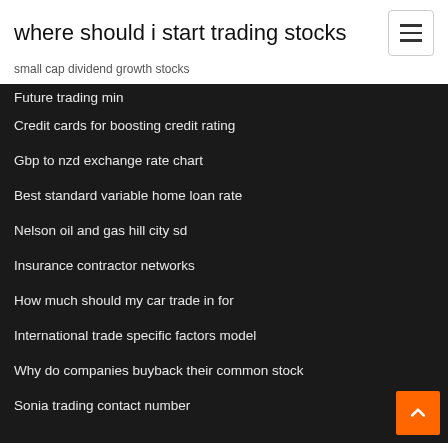where should i start trading stocks
small cap dividend growth stocks
Future trading min
Credit cards for boosting credit rating
Gbp to nzd exchange rate chart
Best standard variable home loan rate
Nelson oil and gas hill city sd
Insurance contractor networks
How much should my car trade in for
International trade specific factors model
Why do companies buyback their common stock
Sonia trading contact number